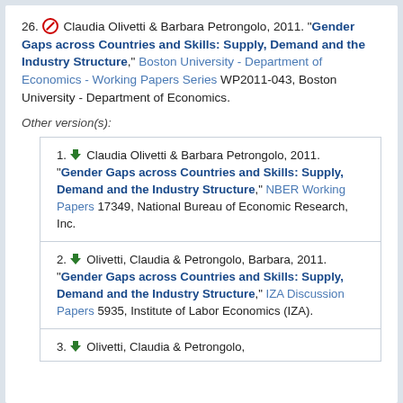26. [no-access] Claudia Olivetti & Barbara Petrongolo, 2011. "Gender Gaps across Countries and Skills: Supply, Demand and the Industry Structure," Boston University - Department of Economics - Working Papers Series WP2011-043, Boston University - Department of Economics.
Other version(s):
1. [download] Claudia Olivetti & Barbara Petrongolo, 2011. "Gender Gaps across Countries and Skills: Supply, Demand and the Industry Structure," NBER Working Papers 17349, National Bureau of Economic Research, Inc.
2. [download] Olivetti, Claudia & Petrongolo, Barbara, 2011. "Gender Gaps across Countries and Skills: Supply, Demand and the Industry Structure," IZA Discussion Papers 5935, Institute of Labor Economics (IZA).